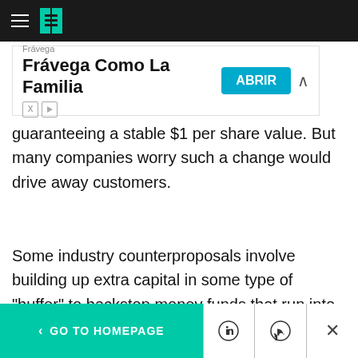HuffPost navigation bar
[Figure (other): Advertisement banner: Frávega Como La Familia with ABRIR button]
guaranteeing a stable $1 per share value. But many companies worry such a change would drive away customers.
Some industry counterproposals involve building up extra capital in some type of "buffer" to backstop money funds that run into trouble. Asset management executives also say that changes put in place by the Securities Exchange Commission at the start of 2010 already have
< GO TO HOMEPAGE